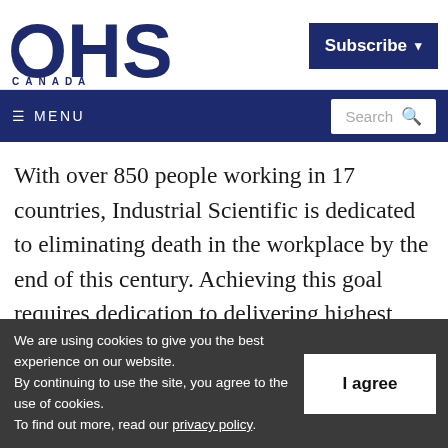[Figure (logo): OHS Canada logo with large bold dark navy letters OHS and CANADA text below]
[Figure (other): Subscribe button with dropdown arrow in dark navy background]
≡ MENU   Search 🔍
With over 850 people working in 17 countries, Industrial Scientific is dedicated to eliminating death in the workplace by the end of this century. Achieving this goal requires dedication to delivering highest quality and
We are using cookies to give you the best experience on our website.
By continuing to use the site, you agree to the use of cookies.
To find out more, read our privacy policy.